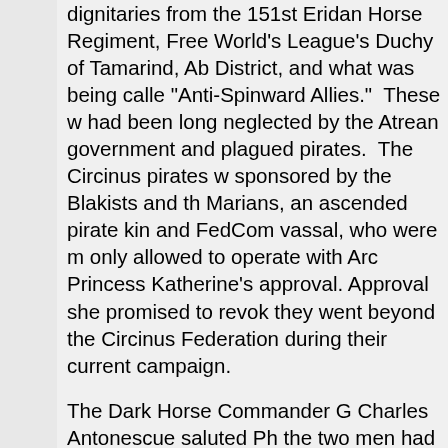dignitaries from the 151st Eridan Horse Regiment, Free World's League's Duchy of Tamarind, Ab District, and what was being called "Anti-Spinward Allies." These wo had been long neglected by the Atrean government and plagued pirates. The Circinus pirates we sponsored by the Blakists and th Marians, an ascended pirate king and FedCom vassal, who were m only allowed to operate with Arch Princess Katherine's approval. Approval she promised to revoke they went beyond the Circinus Federation during their current campaign.
The Dark Horse Commander Ge Charles Antonescue saluted Pho the two men had fought alongside another since the Black Dragon's betrayal that started this fateful w